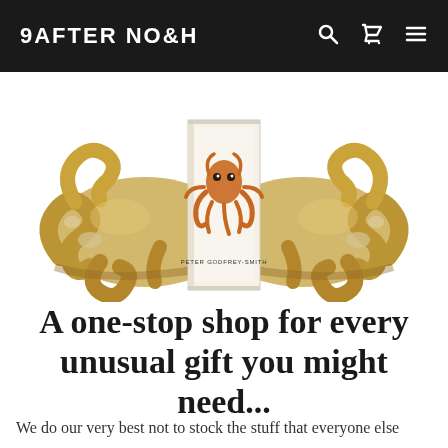AFTER NOAH
[Figure (photo): Decorative golden octopus-tentacle bookends holding a book titled 'Peter Godfrey-Smith' with an octopus illustration on the cover, photographed against a white background.]
A one-stop shop for every unusual gift you might need...
We do our very best not to stock the stuff that everyone else